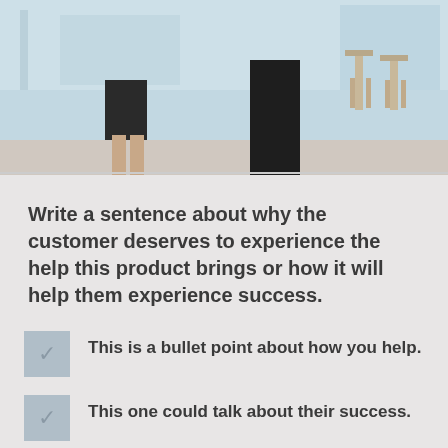[Figure (photo): Photo showing legs/lower bodies of two people standing in what appears to be an office or studio setting with stools in the background]
Write a sentence about why the customer deserves to experience the help this product brings or how it will help them experience success.
This is a bullet point about how you help.
This one could talk about their success.
This one could be about avoiding failure.